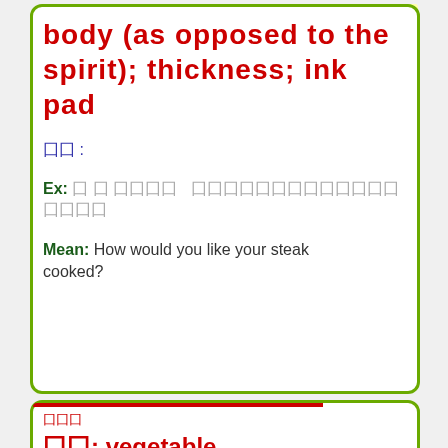App 3.0↓
body (as opposed to the spirit); thickness; ink pad
囗囗 :
Ex: 囗囗囗囗囗囗囗囗囗囗囗囗囗囗囗囗囗
Mean: How would you like your steak cooked?
囗囗囗
囗囗: vegetable